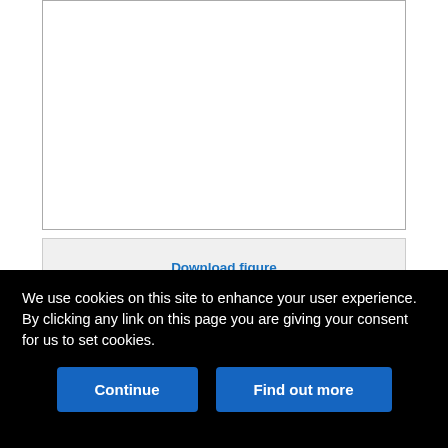[Figure (other): Empty white figure box with gray border, representing a medical figure placeholder]
Download figure
Open in new tab
Download powerpoint
FIG 4.
If your institution does not perform intracranial vessel wall MR imaging (only
We use cookies on this site to enhance your user experience. By clicking any link on this page you are giving your consent for us to set cookies.
Continue
Find out more